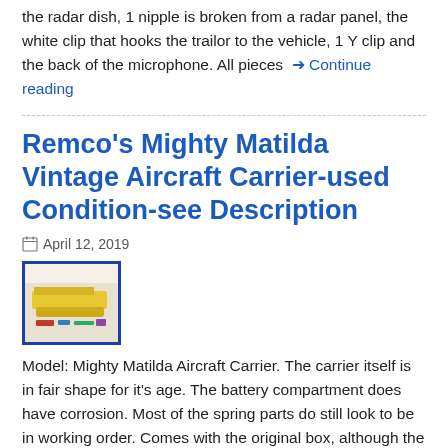the radar dish, 1 nipple is broken from a radar panel, the white clip that hooks the trailor to the vehicle, 1 Y clip and the back of the microphone. All pieces → Continue reading
Remco's Mighty Matilda Vintage Aircraft Carrier-used Condition-see Description
April 12, 2019
[Figure (photo): Thumbnail photo of a toy aircraft carrier set in its original box, showing a yellow carrier model with various pieces.]
Model: Mighty Matilda Aircraft Carrier. The carrier itself is in fair shape for it's age. The battery compartment does have corrosion. Most of the spring parts do still look to be in working order. Comes with the original box, although the box is in fair shape for it's age. The box does have one hole → Continue reading